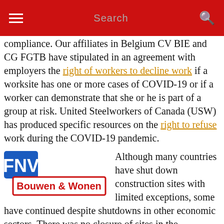Search
compliance. Our affiliates in Belgium CV BIE and CG FGTB have stipulated in an agreement with employers the right of workers to decline work if a worksite has one or more cases of COVID-19 or if a worker can demonstrate that she or he is part of a group at risk. United Steelworkers of Canada (USW) has produced specific resources on the right to refuse work during the COVID-19 pandemic.
[Figure (logo): FNV Bouwen & Wonen logo — blue FNV badge and red bordered text]
Although many countries have shut down construction sites with limited exceptions, some have continued despite shutdowns in other economic sectors. There was no closure of sites in the Netherlands where FNV-Bouwen en Wonen has recently reached agreement with construction employers on how to manage COVID-19 risks. In most countries, construction will resume in the weeks and months to come. Unions have given